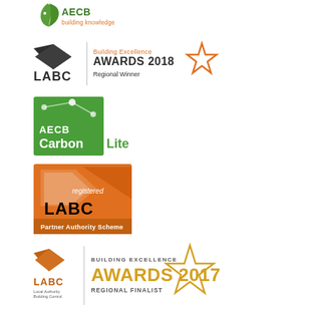[Figure (logo): AECB building knowledge logo - green leaf/flame icon with AECB text in green and 'building knowledge' in orange below]
[Figure (logo): LABC Building Excellence AWARDS 2018 Regional Winner logo - dark chevron LABC mark with orange star outline]
[Figure (logo): AECB CarbonLite logo - green square background with white dots connected by lines, AECB CarbonLite text in white and green]
[Figure (logo): LABC registered Partner Authority Scheme logo - orange and black on orange background square]
[Figure (logo): LABC Building Excellence AWARDS 2017 Regional Finalist logo - LABC mark with gold star outline]